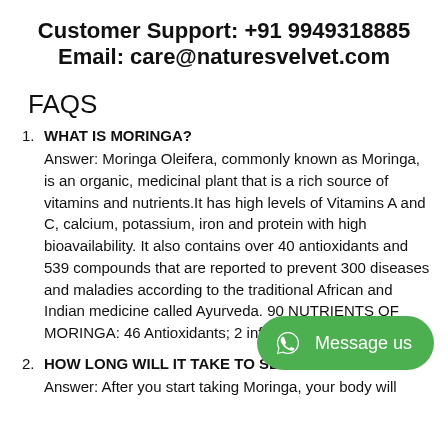Customer Support: +91 9949318885
Email: care@naturesvelvet.com
FAQS
WHAT IS MORINGA?
Answer: Moringa Oleifera, commonly known as Moringa, is an organic, medicinal plant that is a rich source of vitamins and nutrients.It has high levels of Vitamins A and C, calcium, potassium, iron and protein with high bioavailability. It also contains over 40 antioxidants and 539 compounds that are reported to prevent 300 diseases and maladies according to the traditional African and Indian medicine called Ayurveda. 90 NUTRIENTS OF MORINGA: 46 Antioxidants; 2... inflammatory compounds;
[Figure (other): WhatsApp 'Message us' green pill button with WhatsApp icon]
HOW LONG WILL IT TAKE TO SEE THE RESULTS?
Answer: After you start taking Moringa, your body will